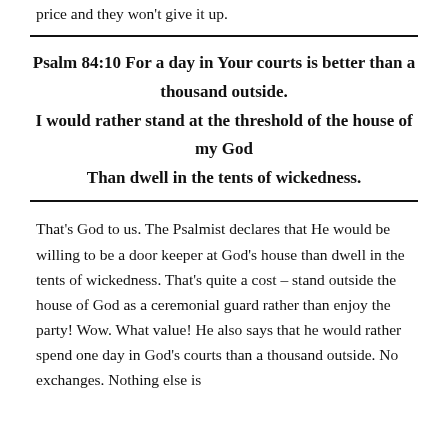price and they won't give it up.
Psalm 84:10 For a day in Your courts is better than a thousand outside.
I would rather stand at the threshold of the house of my God
Than dwell in the tents of wickedness.
That's God to us. The Psalmist declares that He would be willing to be a door keeper at God's house than dwell in the tents of wickedness. That's quite a cost – stand outside the house of God as a ceremonial guard rather than enjoy the party! Wow. What value! He also says that he would rather spend one day in God's courts than a thousand outside. No exchanges. Nothing else is